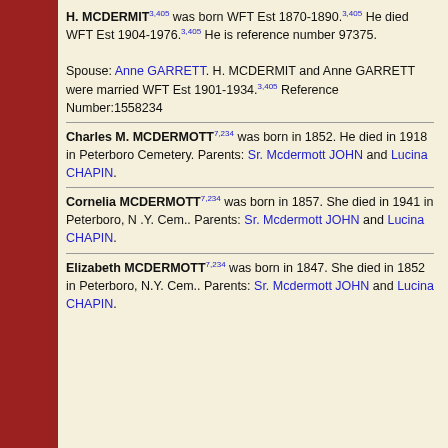H. MCDERMIT3,405 was born WFT Est 1870-1890.3,405 He died WFT Est 1904-1976.3,405 He is reference number 97375. Spouse: Anne GARRETT. H. MCDERMIT and Anne GARRETT were married WFT Est 1901-1934.3,405 Reference Number:1558234
Charles M. MCDERMOTT7,234 was born in 1852. He died in 1918 in Peterboro Cemetery. Parents: Sr. Mcdermott JOHN and Lucina CHAPIN.
Cornelia MCDERMOTT7,234 was born in 1857. She died in 1941 in Peterboro, N.Y. Cem.. Parents: Sr. Mcdermott JOHN and Lucina CHAPIN.
Elizabeth MCDERMOTT7,234 was born in 1847. She died in 1852 in Peterboro, N.Y. Cem.. Parents: Sr. Mcdermott JOHN and Lucina CHAPIN.